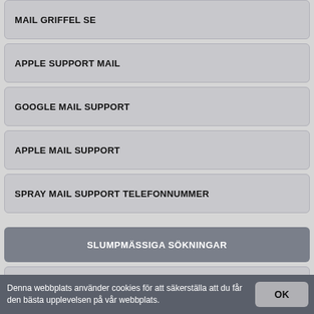MAIL GRIFFEL SE
APPLE SUPPORT MAIL
GOOGLE MAIL SUPPORT
APPLE MAIL SUPPORT
SPRAY MAIL SUPPORT TELEFONNUMMER
SLUMPMÄSSIGA SÖKNINGAR
DROPBOX LOGIN
LAPOSTE MAIL
Denna webbplats använder cookies för att säkerställa att du får den bästa upplevelsen på vår webbplats.